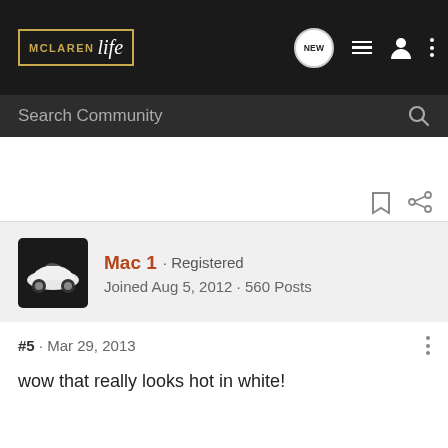McLaren Life · Search Community
Mac 1 · Registered
Joined Aug 5, 2012 · 560 Posts
#5 · Mar 29, 2013
wow that really looks hot in white!